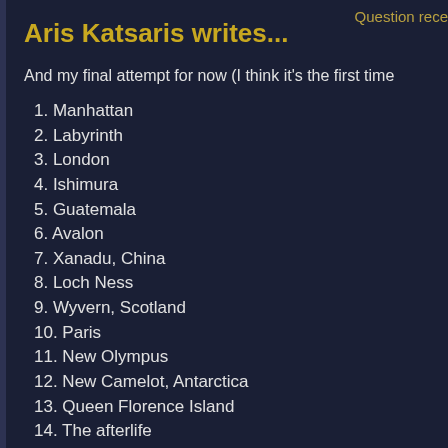Question rece
Aris Katsaris writes...
And my final attempt for now (I think it's the first time
1. Manhattan
2. Labyrinth
3. London
4. Ishimura
5. Guatemala
6. Avalon
7. Xanadu, China
8. Loch Ness
9. Wyvern, Scotland
10. Paris
11. New Olympus
12. New Camelot, Antarctica
13. Queen Florence Island
14. The afterlife
(okay, that was a joke :-)